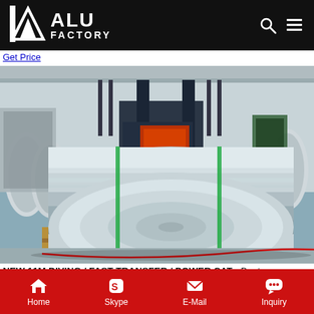ALU FACTORY
Get Price
[Figure (photo): Large aluminum coil/roll on a wooden pallet inside an industrial factory. A red forklift is visible in the background along with factory equipment and other aluminum rolls.]
NEW 11M DIVING / FAST TRANSFER / POWER CAT - Boats Description11m Diving / Fast Transfer / Power Cat Characterized by a
Home  Skype  E-Mail  Inquiry